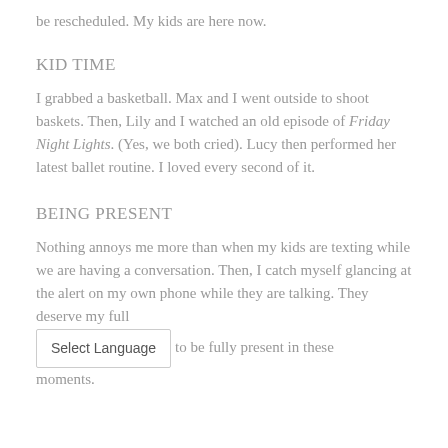be rescheduled. My kids are here now.
KID TIME
I grabbed a basketball. Max and I went outside to shoot baskets. Then, Lily and I watched an old episode of Friday Night Lights. (Yes, we both cried). Lucy then performed her latest ballet routine. I loved every second of it.
BEING PRESENT
Nothing annoys me more than when my kids are texting while we are having a conversation. Then, I catch myself glancing at the alert on my own phone while they are talking. They deserve my full [Select Language] to be fully present in these moments.